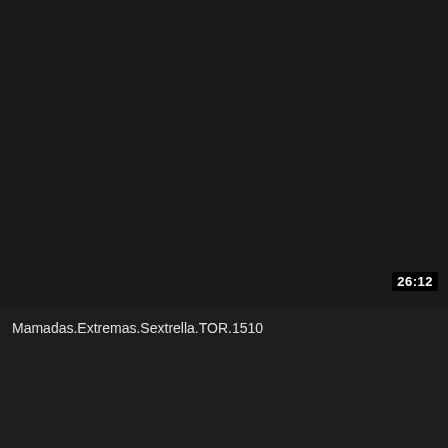[Figure (screenshot): Dark video thumbnail placeholder with no visible content, black/dark gray background]
26:12
Mamadas.Extremas.Sextrella.TOR.1510